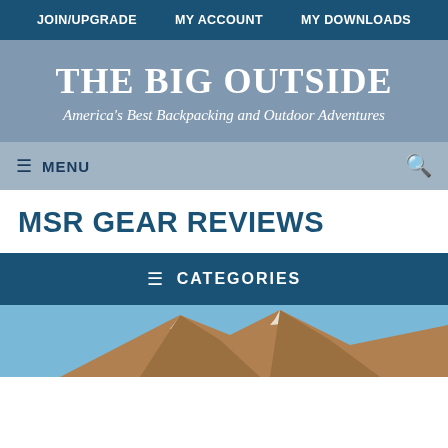JOIN/UPGRADE   MY ACCOUNT   MY DOWNLOADS
THE BIG OUTSIDE
America's Best Backpacking and Outdoor Adventures
≡ MENU
MSR GEAR REVIEWS
≡ CATEGORIES
[Figure (photo): Mountain peak with rocky terrain under blue sky, partially cropped at bottom of page]